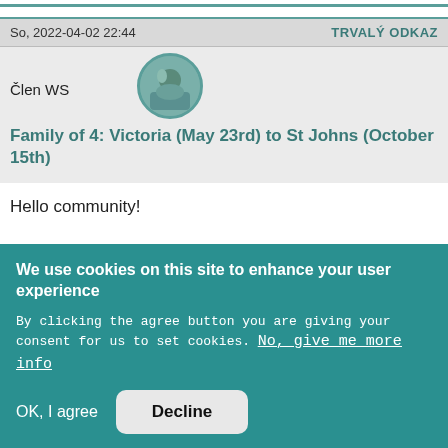So, 2022-04-02 22:44
TRVALÝ ODKAZ
Člen WS
Family of 4: Victoria (May 23rd) to St Johns (October 15th)
Hello community!
We use cookies on this site to enhance your user experience
By clicking the agree button you are giving your consent for us to set cookies. No, give me more info
OK, I agree
Decline